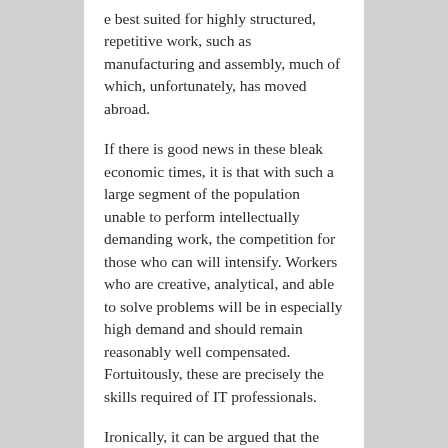e best suited for highly structured, repetitive work, such as manufacturing and assembly, much of which, unfortunately, has moved abroad.
If there is good news in these bleak economic times, it is that with such a large segment of the population unable to perform intellectually demanding work, the competition for those who can will intensify. Workers who are creative, analytical, and able to solve problems will be in especially high demand and should remain reasonably well compensated. Fortuitously, these are precisely the skills required of IT professionals.
Ironically, it can be argued that the spread of information technology actually enables illiteracy by making it all but unnecessary to think o